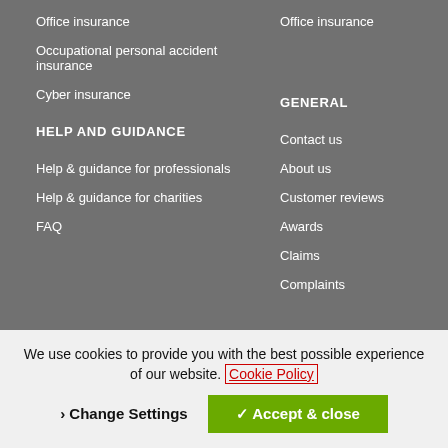Office insurance
Occupational personal accident insurance
Cyber insurance
Office insurance
HELP AND GUIDANCE
GENERAL
Help & guidance for professionals
Contact us
Help & guidance for charities
About us
FAQ
Customer reviews
Awards
Claims
Complaints
We use cookies to provide you with the best possible experience of our website. Cookie Policy
› Change Settings
✓ Accept & close